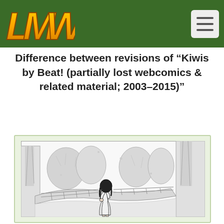LMW (logo) | hamburger menu
Difference between revisions of “Kiwis by Beat! (partially lost webcomics & related material; 2003–2015)”
[Figure (illustration): Manga-style black and white illustration showing a girl with dark hair seen from behind, standing near large trees and a curved path or bridge, in an outdoor natural setting.]